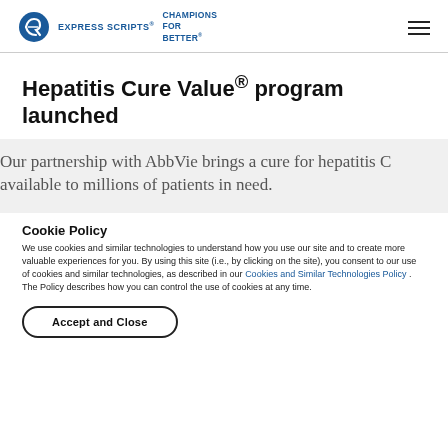EXPRESS SCRIPTS® CHAMPIONS FOR BETTER
Hepatitis Cure Value® program launched
Our partnership with AbbVie brings a cure for hepatitis C available to millions of patients in need.
Cookie Policy
We use cookies and similar technologies to understand how you use our site and to create more valuable experiences for you. By using this site (i.e., by clicking on the site), you consent to our use of cookies and similar technologies, as described in our Cookies and Similar Technologies Policy . The Policy describes how you can control the use of cookies at any time.
Accept and Close